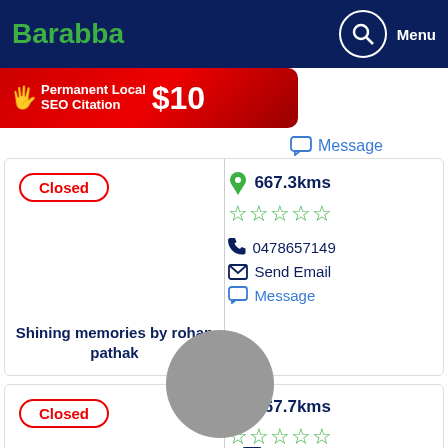Barabba
[Figure (infographic): Red ad banner: Permanent Local SEO Citation $10]
Closed
667.3kms
0478657149
Send Email
Message
Shining memories by rohan pathak
Closed
667.7kms
0468832369
Send Email
Message
Pink stardust by Neha pawar